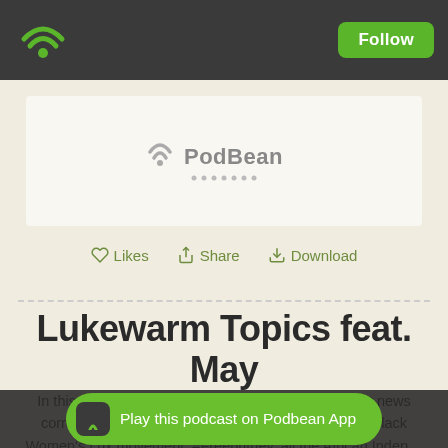Follow
[Figure (logo): PodBean logo with wifi/podcast icon and dotted underline]
Likes  Share  Download
Lukewarm Topics feat. May
In this week's episode, we are joined by our resident news correspondent and gossip girl May. We discuss the Black Women's Lux movement, #Freebritney, all the African Indep... latest on
Play this podcast on Podbean App